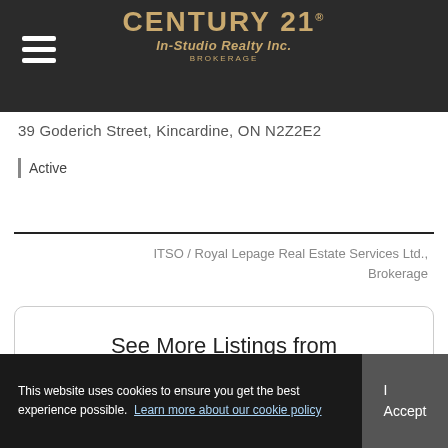CENTURY 21 In-Studio Realty Inc. BROKERAGE
39 Goderich Street, Kincardine, ON N2Z2E2
Active
ITSO / Royal Lepage Real Estate Services Ltd., Brokerage
See More Listings from Waterfront For Sale Kincardine
Contact us
This website uses cookies to ensure you get the best experience possible. Learn more about our cookie policy
I Accept